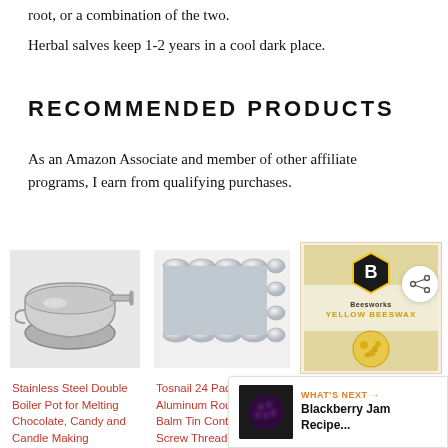root, or a combination of the two.
Herbal salves keep 1-2 years in a cool dark place.
RECOMMENDED PRODUCTS
As an Amazon Associate and member of other affiliate programs, I earn from qualifying purchases.
[Figure (photo): Stainless steel double boiler pot]
Stainless Steel Double Boiler Pot for Melting Chocolate, Candy and Candle Making
[Figure (photo): Tosnail 24 Pack aluminum round lip balm tin containers]
Tosnail 24 Pack 2 oz Aluminum Round Lip Balm Tin Containers with Screw Thread Lid -
[Figure (photo): Beesworks Yellow Beeswax package]
Beesworks® Beeswax Pellets- Yellow Cosmetic Grade- Triple Filtered